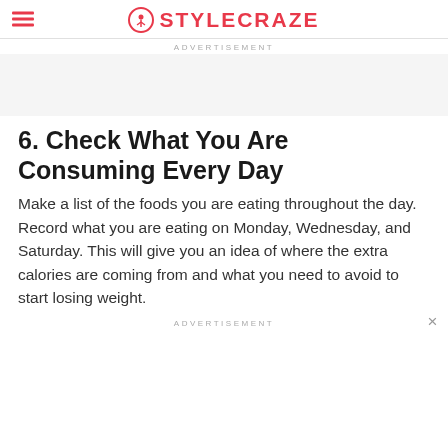STYLECRAZE
ADVERTISEMENT
6. Check What You Are Consuming Every Day
Make a list of the foods you are eating throughout the day. Record what you are eating on Monday, Wednesday, and Saturday. This will give you an idea of where the extra calories are coming from and what you need to avoid to start losing weight.
ADVERTISEMENT